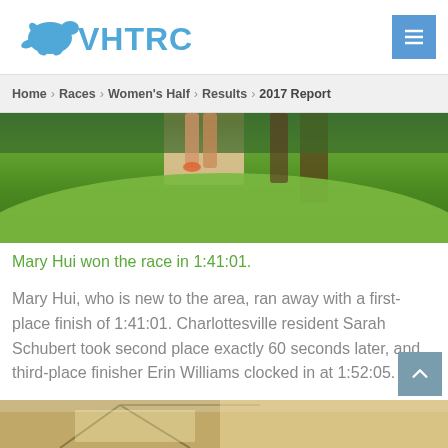VHTRC
Home › Races › Women's Half › Results › 2017 Report
[Figure (photo): Runner's legs visible above a grassy hill with trees in the background, outdoor trail race scene.]
Mary Hui won the race in 1:41:01.
Mary Hui, who is new to the area, ran away with a first-place finish of 1:41:01. Charlottesville resident Sarah Schubert took second place exactly 60 seconds later, and third-place finisher Erin Williams clocked in at 1:52:05.
[Figure (photo): Bottom strip showing an outdoor race setup with tent/canopy structure.]